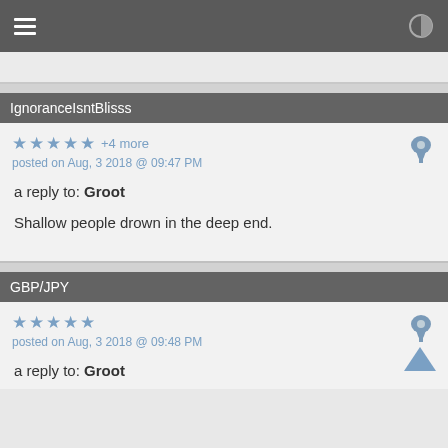IgnoranceIsntBlisss
★ ★ ★ ★ ★ +4 more
posted on Aug, 3 2018 @ 09:47 PM
a reply to: Groot

Shallow people drown in the deep end.
GBP/JPY
★ ★ ★ ★ ★
posted on Aug, 3 2018 @ 09:48 PM
a reply to: Groot